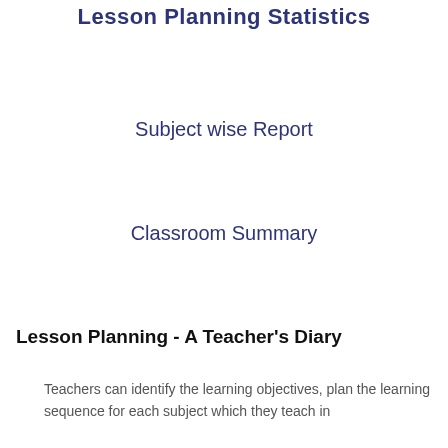Lesson Planning Statistics
Subject wise Report
Classroom Summary
Lesson Planning - A Teacher's Diary
Teachers can identify the learning objectives, plan the learning sequence for each subject which they teach in